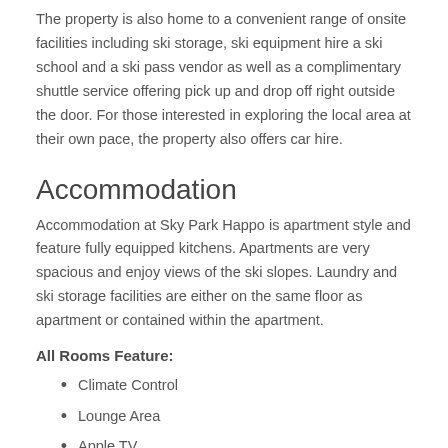The property is also home to a convenient range of onsite facilities including ski storage, ski equipment hire a ski school and a ski pass vendor as well as a complimentary shuttle service offering pick up and drop off right outside the door. For those interested in exploring the local area at their own pace, the property also offers car hire.
Accommodation
Accommodation at Sky Park Happo is apartment style and feature fully equipped kitchens. Apartments are very spacious and enjoy views of the ski slopes. Laundry and ski storage facilities are either on the same floor as apartment or contained within the apartment.
All Rooms Feature:
Climate Control
Lounge Area
Apple TV
DVD Player
Full Kitchen